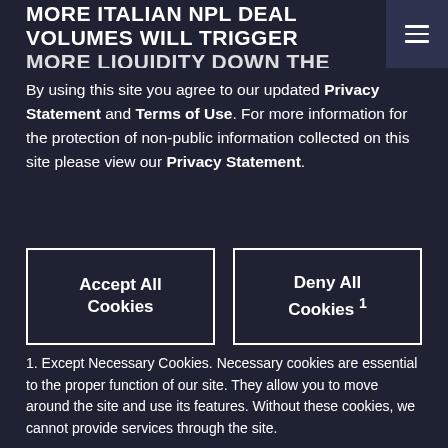MORE ITALIAN NPL DEAL VOLUMES WILL TRIGGER MORE LIQUIDITY DOWN THE
By using this site you agree to our updated Privacy Statement and Terms of Use. For more information for the protection of non-public information collected on this site please view our Privacy Statement.
Accept All Cookies
Deny All Cookies 1
1. Except Necessary Cookies. Necessary cookies are essential to the proper function of our site. They allow you to move around the site and use its features. Without these cookies, we cannot provide services through the site.